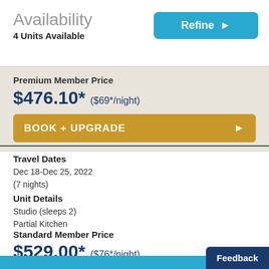Availability
4 Units Available
Premium Member Price
$476.10* ($69*/night)
BOOK + UPGRADE
Travel Dates
Dec 18-Dec 25, 2022
(7 nights)
Unit Details
Studio (sleeps 2)
Partial Kitchen
Standard Member Price
$529.00* ($76*/night)
Feedback